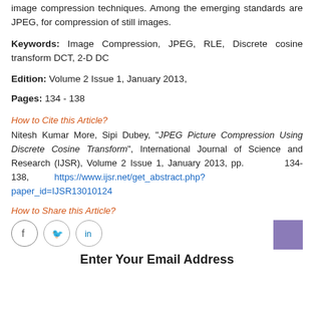image compression techniques. Among the emerging standards are JPEG, for compression of still images.
Keywords: Image Compression, JPEG, RLE, Discrete cosine transform DCT, 2-D DC
Edition: Volume 2 Issue 1, January 2013,
Pages: 134 - 138
How to Cite this Article?
Nitesh Kumar More, Sipi Dubey, "JPEG Picture Compression Using Discrete Cosine Transform", International Journal of Science and Research (IJSR), Volume 2 Issue 1, January 2013, pp. 134-138, https://www.ijsr.net/get_abstract.php?paper_id=IJSR13010124
How to Share this Article?
[Figure (infographic): Social sharing icons: Facebook, Twitter, LinkedIn circles, and a purple rectangle]
Enter Your Email Address